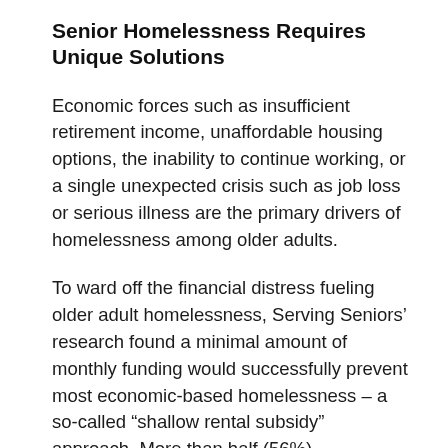Senior Homelessness Requires Unique Solutions
Economic forces such as insufficient retirement income, unaffordable housing options, the inability to continue working, or a single unexpected crisis such as job loss or serious illness are the primary drivers of homelessness among older adults.
To ward off the financial distress fueling older adult homelessness, Serving Seniors’ research found a minimal amount of monthly funding would successfully prevent most economic-based homelessness – a so-called “shallow rental subsidy” approach. More than half (56%)